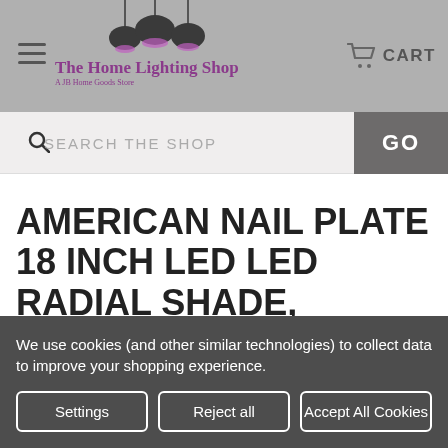[Figure (screenshot): The Home Lighting Shop header with pendant lamp illustrations, hamburger menu, and cart icon]
SEARCH THE SHOP / GO
AMERICAN NAIL PLATE 18 INCH LED LED RADIAL SHADE, CLASSIC WAVE SHADE WHITE PENDANT LIGHT-R918-M924LDNW60K-RTC-BLC-44
We use cookies (and other similar technologies) to collect data to improve your shopping experience.
Settings | Reject all | Accept All Cookies